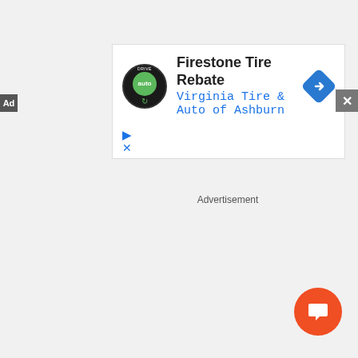[Figure (screenshot): Advertisement banner for Firestone Tire Rebate at Virginia Tire & Auto of Ashburn, with logo, title text, and navigation arrow icon. Includes Ad label and close button. Below is a chat button (orange circle with speech bubble icon) and Advertisement caption text.]
Advertisement